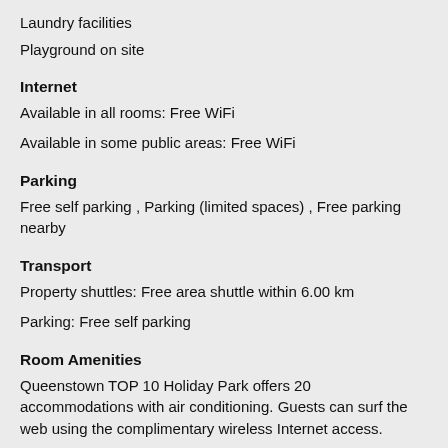Laundry facilities
Playground on site
Internet
Available in all rooms: Free WiFi
Available in some public areas: Free WiFi
Parking
Free self parking , Parking (limited spaces) , Free parking nearby
Transport
Property shuttles: Free area shuttle within 6.00 km
Parking: Free self parking
Room Amenities
Queenstown TOP 10 Holiday Park offers 20 accommodations with air conditioning. Guests can surf the web using the complimentary wireless Internet access.